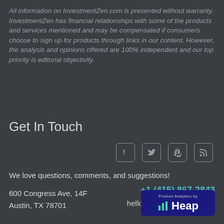All information on InvestmentZen.com is presented without warranty. InvestmentZen has financial relationships with some of the products and services mentioned and may be compensated if consumers choose to sign up for products through links in our content. However, the analysis and opinions offered are 100% independent and our top priority is editorial objectivity.
Get In Touch
[Figure (other): Social media icons: Facebook, Twitter, Pinterest, RSS feed]
We love questions, comments, and suggestions!
600 Congress Ave, 14F
Austin, TX 78701
+1 (415) 867-2843
hello@investmentzen.com
[Figure (logo): Product Analytics by Heap logo badge]